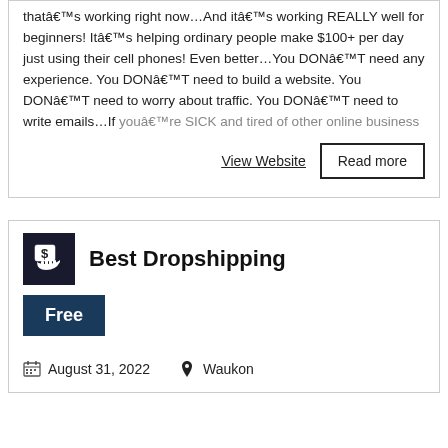that's working right now…And it's working REALLY well for beginners! It's helping ordinary people make $100+ per day just using their cell phones! Even better…You DON'T need any experience. You DON'T need to build a website. You DON'T need to worry about traffic. You DON'T need to write emails…If you're SICK and tired of other online business
View Website
Read more
[Figure (logo): Dark square icon with a hand holding money/cash with dollar sign]
Best Dropshipping
Free
August 31, 2022
Waukon